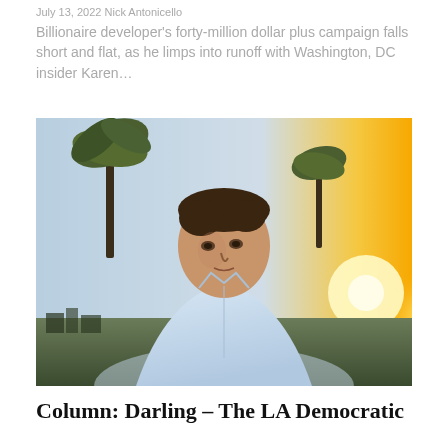July 13, 2022 Nick Antonicello
Billionaire developer’s forty-million dollar plus campaign falls short and flat, as he limps into runoff with Washington, DC insider Karen…
[Figure (photo): A man in a light blue button-up shirt standing outdoors with palm trees and a bright golden-hour sunset behind him, looking contemplatively to the side.]
Column: Darling – The LA Democratic